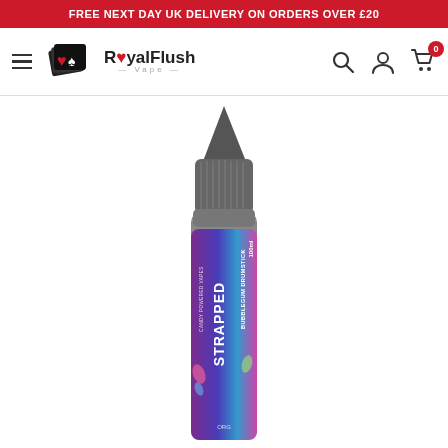FREE NEXT DAY UK DELIVERY ON ORDERS OVER £20
[Figure (logo): Royal Flush Vape logo with playing cards icon and brand name]
[Figure (photo): Strapped Bubblegum Drumstick 100ml vape liquid bottle with colorful label on white background]